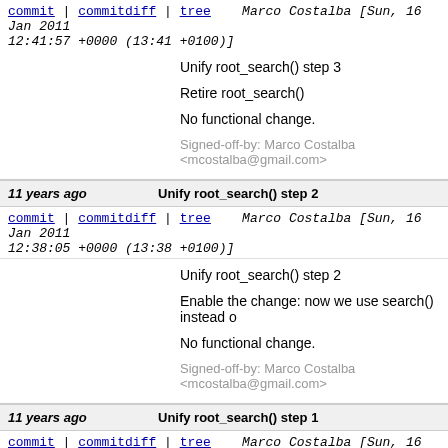commit | commitdiff | tree   Marco Costalba [Sun, 16 Jan 2011 12:41:57 +0000 (13:41 +0100)]
Unify root_search() step 3

Retire root_search()

No functional change.

Signed-off-by: Marco Costalba <mcostalba@gmail.com>
11 years ago    Unify root_search() step 2
commit | commitdiff | tree   Marco Costalba [Sun, 16 Jan 2011 12:38:05 +0000 (13:38 +0100)]
Unify root_search() step 2

Enable the change: now we use search() instead o

No functional change.

Signed-off-by: Marco Costalba <mcostalba@gmail.com>
11 years ago    Unify root_search() step 1
commit | commitdiff | tree   Marco Costalba [Sun, 16 Jan 2011 11:02:32 +0000 (12:02 +0100)]